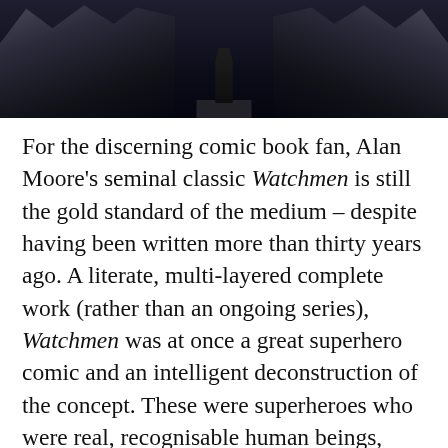[Figure (photo): A dark scene showing a crowd of people in dark clothing on either side, with a central figure or monument on a pedestal in the middle, reminiscent of a film still from Watchmen.]
For the discerning comic book fan, Alan Moore's seminal classic Watchmen is still the gold standard of the medium – despite having been written more than thirty years ago. A literate, multi-layered complete work (rather than an ongoing series), Watchmen was at once a great superhero comic and an intelligent deconstruction of the concept. These were superheroes who were real, recognisable human beings, with all the flaws and frailties that real people have. Alcoholics, racists, sadists, misogynists – Moore's characters were these and more, but always rounded, with good